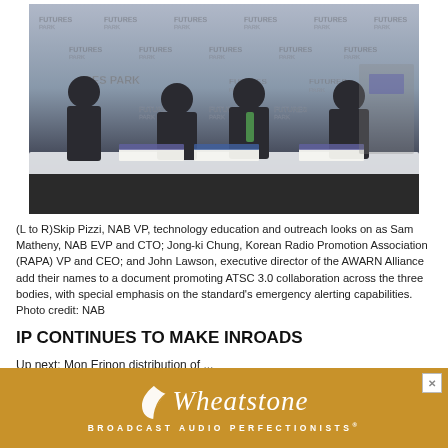[Figure (photo): Four men in business suits signing documents at a table in front of a Futures Park branded backdrop. Three are seated and signing, one stands to the left observing.]
(L to R)Skip Pizzi, NAB VP, technology education and outreach looks on as Sam Matheny, NAB EVP and CTO; Jong-ki Chung, Korean Radio Promotion Association (RAPA) VP and CEO; and John Lawson, executive director of the AWARN Alliance add their names to a document promoting ATSC 3.0 collaboration across the three bodies, with special emphasis on the standard's emergency alerting capabilities. Photo credit: NAB
IP CONTINUES TO MAKE INROADS
Up next: Mon Erinon distribution of ...
[Figure (photo): Wheatstone Broadcast Audio Perfectionists advertisement with golden background, leaf logo and italic brand name.]